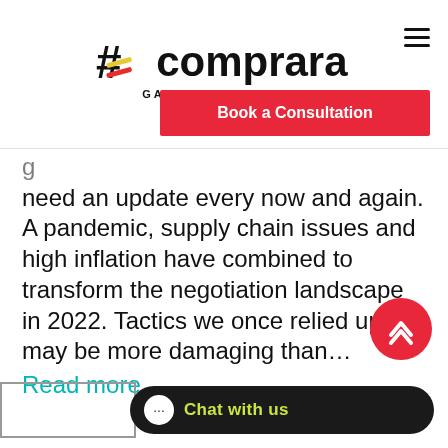[Figure (logo): Comprara logo with hashtag symbol and tagline GAIN MORE GROUND]
[Figure (screenshot): Book a Consultation button (red)]
need an update every now and again. A pandemic, supply chain issues and high inflation have combined to transform the negotiation landscape in 2022. Tactics we once relied upon may be more damaging than…
Read more.
[Figure (screenshot): Red circular scroll-to-top button with double chevron up arrow]
[Figure (screenshot): Dark pill-shaped chat widget with chat bubble icon and 'Chat with us' text in yellow-green]